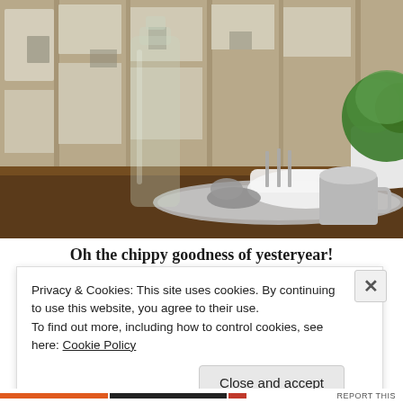[Figure (photo): A rustic farmhouse-style tabletop vignette featuring a clear glass bottle, white ceramic vessels, a decorative plant in a white pot, silverware on a tray, and a grey mug, set against a weathered white chippy painted wooden plank background.]
Oh the chippy goodness of yesteryear!
Privacy & Cookies: This site uses cookies. By continuing to use this website, you agree to their use.
To find out more, including how to control cookies, see here: Cookie Policy